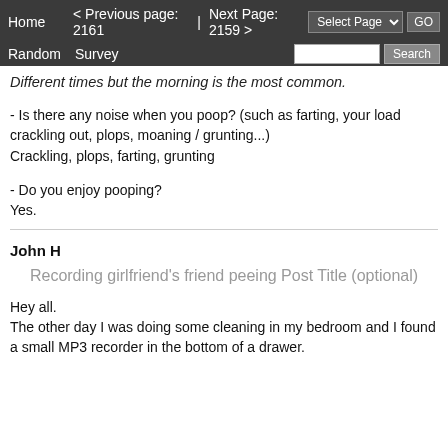Home  < Previous page: 2161  |  Next Page: 2159 >  Random  Survey
Different times but the morning is the most common.
- Is there any noise when you poop? (such as farting, your load crackling out, plops, moaning / grunting...) Crackling, plops, farting, grunting
- Do you enjoy pooping?
Yes.
John H
Recording girlfriend's friend peeing Post Title (optional)
Hey all.
The other day I was doing some cleaning in my bedroom and I found a small MP3 recorder in the bottom of a drawer.